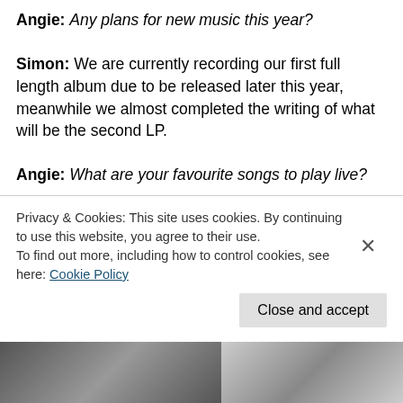Angie: Any plans for new music this year?
Simon: We are currently recording our first full length album due to be released later this year, meanwhile we almost completed the writing of what will be the second LP.
Angie: What are your favourite songs to play live?
Simon: It is pretty hard to name a specific song as we
Privacy & Cookies: This site uses cookies. By continuing to use this website, you agree to their use.
To find out more, including how to control cookies, see here: Cookie Policy
Close and accept